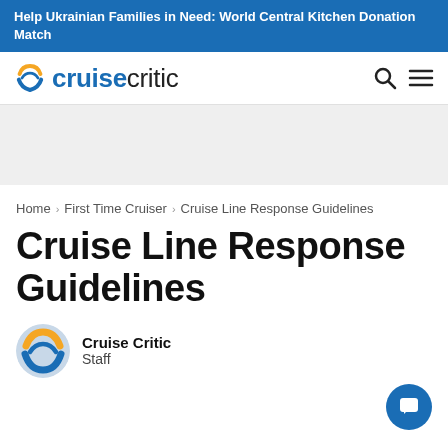Help Ukrainian Families in Need: World Central Kitchen Donation Match
[Figure (logo): Cruise Critic logo with orange/blue circular C icon and wordmark 'cruisecritic' in blue and dark text, plus search and hamburger menu icons]
[Figure (other): Gray advertisement placeholder banner]
Home > First Time Cruiser > Cruise Line Response Guidelines
Cruise Line Response Guidelines
[Figure (logo): Cruise Critic circular logo avatar with orange and blue wave design]
Cruise Critic
Staff